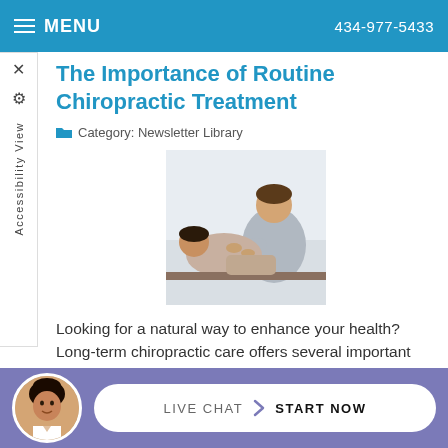MENU   434-977-5433
The Importance of Routine Chiropractic Treatment
Category: Newsletter Library
[Figure (photo): A chiropractor performing a spinal adjustment on a patient lying on a treatment table]
Looking for a natural way to enhance your health? Long-term chiropractic care offers several important health benefits.
Read more
LIVE CHAT  START NOW